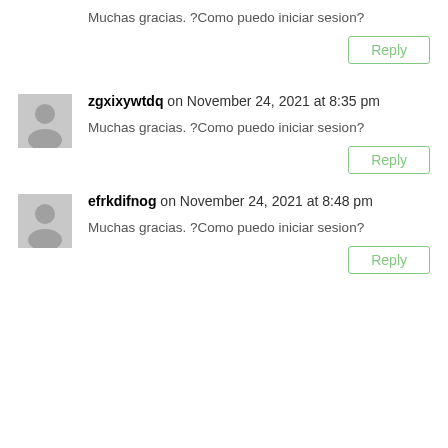Muchas gracias. ?Como puedo iniciar sesion?
Reply
zgxixywtdq on November 24, 2021 at 8:35 pm
Muchas gracias. ?Como puedo iniciar sesion?
Reply
efrkdifnog on November 24, 2021 at 8:48 pm
Muchas gracias. ?Como puedo iniciar sesion?
Reply